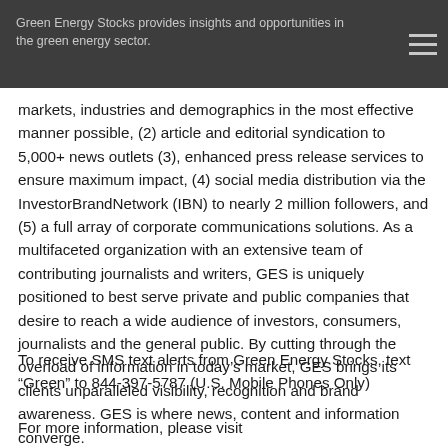Green Energy Stocks provides insights and opportunities in the green energy sector.
markets, industries and demographics in the most effective manner possible, (2) article and editorial syndication to 5,000+ news outlets (3), enhanced press release services to ensure maximum impact, (4) social media distribution via the InvestorBrandNetwork (IBN) to nearly 2 million followers, and (5) a full array of corporate communications solutions. As a multifaceted organization with an extensive team of contributing journalists and writers, GES is uniquely positioned to best serve private and public companies that desire to reach a wide audience of investors, consumers, journalists and the general public. By cutting through the overload of information in today’s market, GES brings its clients unparalleled visibility, recognition and brand awareness. GES is where news, content and information converge.
To receive SMS text alerts from Green Energy Stocks, text “Green” to 844-397-5787 (U.S. Mobile Phones Only)
For more information, please visit